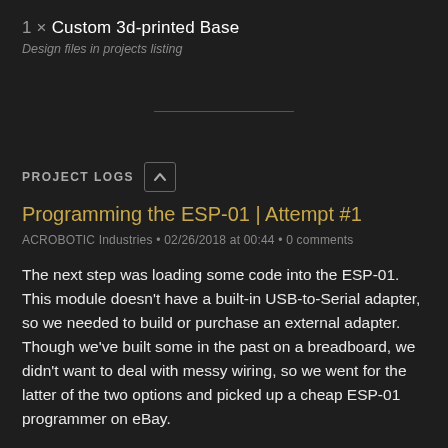1 × Custom 3d-printed Base
Design files in projects listing
PROJECT LOGS
Programming the ESP-01 | Attempt #1
ACROBOTIC Industries • 02/26/2018 at 00:44 • 0 comments
The next step was loading some code into the ESP-01.  This module doesn't have a built-in USB-to-Serial adapter, so we needed to build or purchase an external adapter.  Though we've built some in the past on a breadboard, we didn't want to deal with messy wiring, so we went for the latter of the two options and picked up a cheap ESP-01 programmer on eBay.